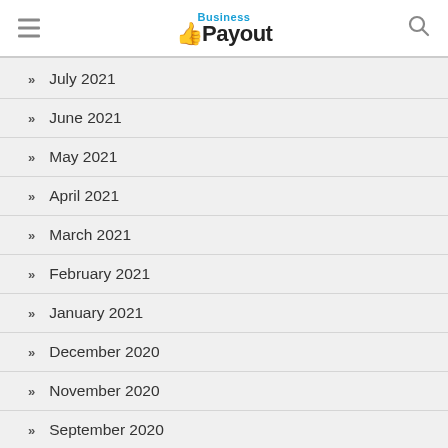Business Payout
July 2021
June 2021
May 2021
April 2021
March 2021
February 2021
January 2021
December 2020
November 2020
September 2020
August 2020